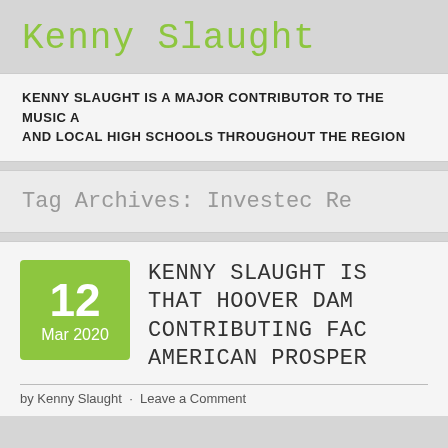Kenny Slaught
KENNY SLAUGHT IS A MAJOR CONTRIBUTOR TO THE MUSIC A AND LOCAL HIGH SCHOOLS THROUGHOUT THE REGION
Tag Archives: Investec Re
KENNY SLAUGHT IS THAT HOOVER DAM CONTRIBUTING FAC AMERICAN PROSPER
by Kenny Slaught · Leave a Comment